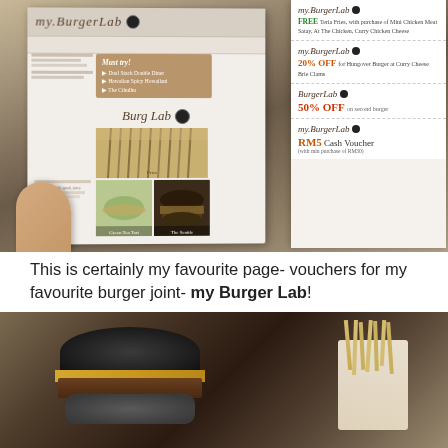[Figure (photo): A photo of a person holding open a magazine/booklet showing myBurgerLab menu pages and coupons. The left page shows the restaurant menu with food photos (Green Tea Tart, The Seattle burger), a Must Try section, and the myBurgerLab logo. The right side shows discount coupons: FREE Fries offer, 20% OFF, 50% OFF on second burger, and RM5 cash voucher.]
This is certainly my favourite page- vouchers for my favourite burger joint- my Burger Lab!
[Figure (photo): A close-up photo of a dark/black burger bun burger with melted cheese and meat patty, served alongside french fries wrapped in paper.]